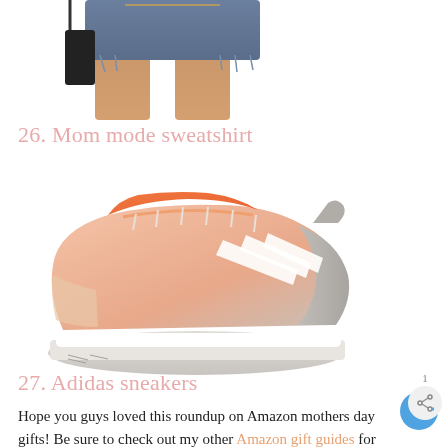[Figure (photo): Cropped photo of a person wearing denim shorts showing legs, partial view of a black handbag]
26. Mom mode sweatshirt
[Figure (photo): Adidas sneakers in salmon/orange and grey colorway with white three-stripe branding on the side]
27. Adidas sneakers
Hope you guys loved this roundup on Amazon mothers day gifts! Be sure to check out my other Amazon gift guides for more Amazon gifts for Dad, FIL or your boyfriend.